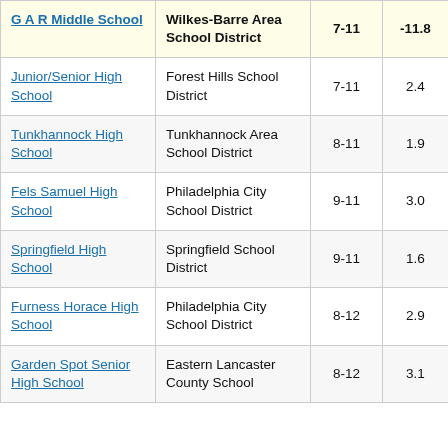| School | District | Grades | Value | Col5 |
| --- | --- | --- | --- | --- |
| G A R Middle School | Wilkes-Barre Area School District | 7-11 | -11.8 | 3... |
| Junior/Senior High School | Forest Hills School District | 7-11 | 2.4 | ... |
| Tunkhannock High School | Tunkhannock Area School District | 8-11 | 1.9 | ... |
| Fels Samuel High School | Philadelphia City School District | 9-11 | 3.0 | ... |
| Springfield High School | Springfield School District | 9-11 | 1.6 |  |
| Furness Horace High School | Philadelphia City School District | 8-12 | 2.9 | ... |
| Garden Spot Senior High School | Eastern Lancaster County School | 8-12 | 3.1 | ... |